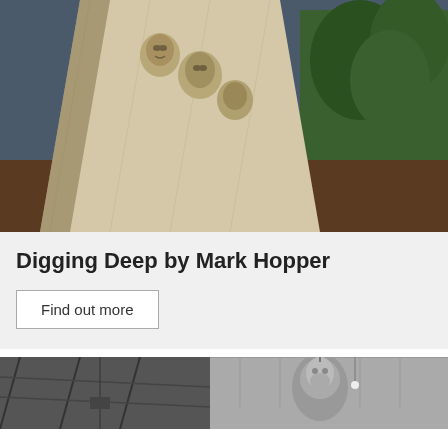[Figure (photo): Outdoor photograph of a large pale stone sculpture with carved human faces emerging from the surface, set against a stormy sky with trees in background]
Digging Deep by Mark Hopper
Find out more
[Figure (photo): Black and white photograph of an industrial workshop interior with a large sculptural bust of a bearded man hanging from the ceiling amid steel framework and skylights]